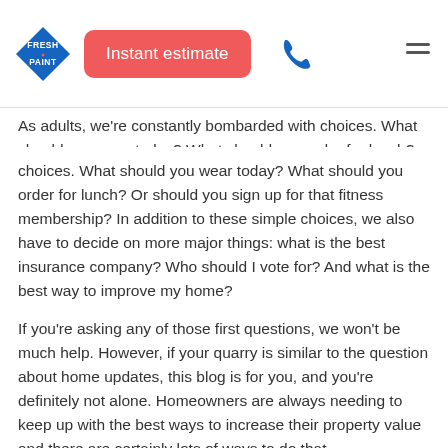Fresh Paint — Instant estimate [nav header]
As adults, we're constantly bombarded with choices. What should you wear today? What should you order for lunch? Or should you sign up for that fitness membership? In addition to these simple choices, we also have to decide on more major things: what is the best insurance company? Who should I vote for? And what is the best way to improve my home?
If you're asking any of those first questions, we won't be much help. However, if your quarry is similar to the question about home updates, this blog is for you, and you're definitely not alone. Homeowners are always needing to keep up with the best ways to increase their property value and there are certainly lots of ways to do that.